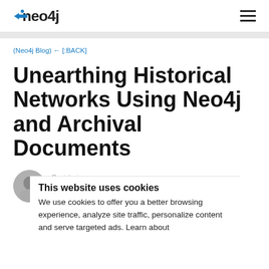neo4j [logo] [hamburger menu]
(Neo4j Blog) ← [:BACK]
Unearthing Historical Networks Using Neo4j and Archival Documents
[Figure (photo): Author avatar circle portrait photo]
This website uses cookies
We use cookies to offer you a better browsing experience, analyze site traffic, personalize content and serve targeted ads. Learn about
Contributor
University...